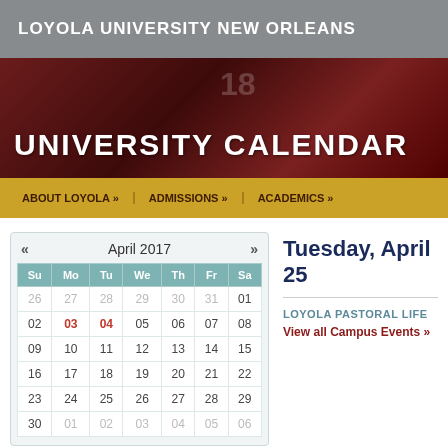LOYOLA UNIVERSITY NEW ORLEANS
[Figure (illustration): Dark maroon hero banner with calendar date numbers 18, 19, 20 faintly visible in background, overlaid with bold white text reading UNIVERSITY CALENDAR]
UNIVERSITY CALENDAR
ABOUT LOYOLA »  |  ADMISSIONS »  |  ACADEMICS »
| Su | Mo | Tu | We | Th | Fr | Sa |
| --- | --- | --- | --- | --- | --- | --- |
| 26 | 27 | 28 | 29 | 30 | 31 | 01 |
| 02 | 03 | 04 | 05 | 06 | 07 | 08 |
| 09 | 10 | 11 | 12 | 13 | 14 | 15 |
| 16 | 17 | 18 | 19 | 20 | 21 | 22 |
| 23 | 24 | 25 | 26 | 27 | 28 | 29 |
| 30 | 01 | 02 | 03 | 04 | 05 | 06 |
Tuesday, April 25
LOYOLA PASTORAL LIFE
View all Campus Events »